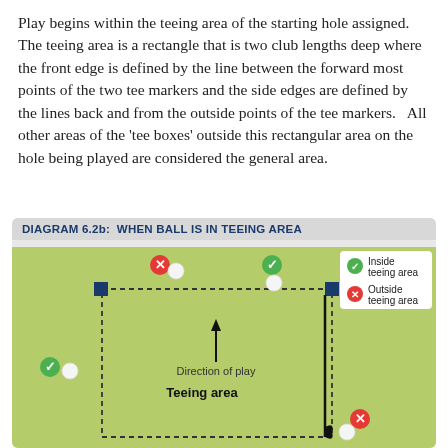Play begins within the teeing area of the starting hole assigned.  The teeing area is a rectangle that is two club lengths deep where the front edge is defined by the line between the forward most points of the two tee markers and the side edges are defined by the lines back and from the outside points of the tee markers.   All other areas of the 'tee boxes' outside this rectangular area on the hole being played are considered the general area.
[Figure (engineering-diagram): Diagram 6.2b: When Ball is in Teeing Area. Shows a green field with a dashed rectangle indicating the teeing area boundary. Two dark blue tee markers at the front corners. A ball inside with checkmark (inside teeing area), a ball outside left with checkmark, a ball outside top-left with X (outside), a ball at top-center with checkmark (inside), and a ball lower-right outside with X. An upward arrow labeled 'Direction of play' and bold text 'Teeing area' inside the rectangle. A legend shows green checkmark = Inside teeing area, red X = Outside teeing area.]